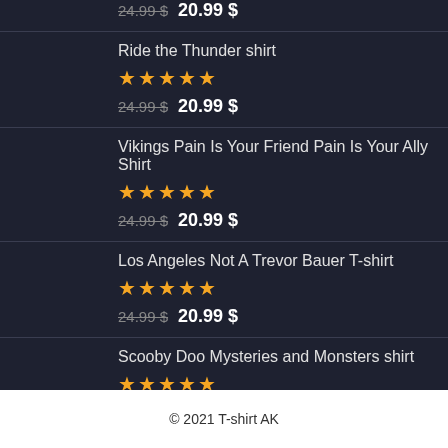24.99 $ 20.99 $ (partial top row)
Ride the Thunder shirt — ★★★★★ — 24.99 $ 20.99 $
Vikings Pain Is Your Friend Pain Is Your Ally Shirt — ★★★★★ — 24.99 $ 20.99 $
Los Angeles Not A Trevor Bauer T-shirt — ★★★★★ — 24.99 $ 20.99 $
Scooby Doo Mysteries and Monsters shirt — ★★★★★ — 24.99 $ 20.99 $
© 2021 T-shirt AK